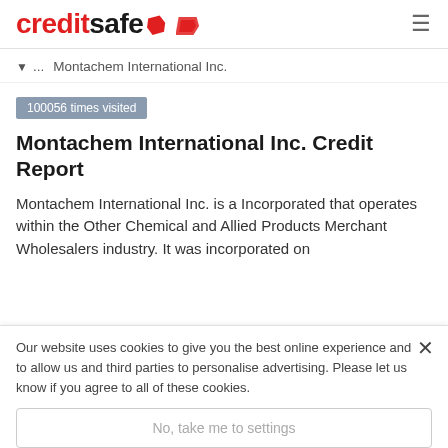creditsafe
▾...  Montachem International Inc.
100056 times visited
Montachem International Inc. Credit Report
Montachem International Inc. is a Incorporated that operates within the Other Chemical and Allied Products Merchant Wholesalers industry. It was incorporated on
Our website uses cookies to give you the best online experience and to allow us and third parties to personalise advertising. Please let us know if you agree to all of these cookies.
No, take me to settings